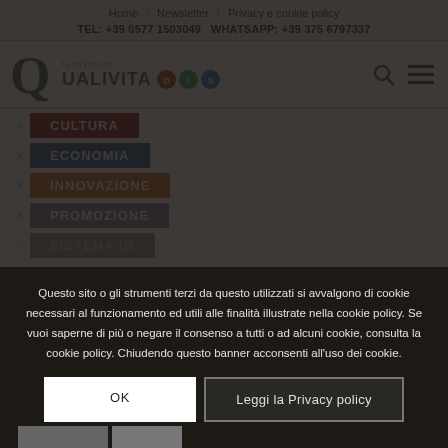Home | Newsletter | Privacy e cookie policy
TEL: +39 0577 1503049 WHATSAPP: +39 375 6797337
[Figure (logo): Fondazione Qualivita logo with large Q letter in olive green, text QUALIVITA, and three circular DOP/IGP/STG certification badges in red, green, and blue. Search and menu icons on the right.]
CULTURA
ECONOMIA
INNOVAZIONE
PROMOZIONE
SISTEMA IG
Questo sito o gli strumenti terzi da questo utilizzati si avvalgono di cookie necessari al funzionamento ed utili alle finalità illustrate nella cookie policy. Se vuoi saperne di più o negare il consenso a tutti o ad alcuni cookie, consulta la cookie policy. Chiudendo questo banner acconsenti all'uso dei cookie.
OK
Leggi la Privacy policy